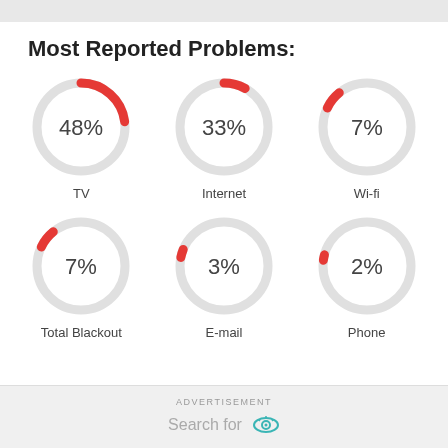Most Reported Problems:
[Figure (donut-chart): TV]
[Figure (donut-chart): Internet]
[Figure (donut-chart): Wi-fi]
[Figure (donut-chart): Total Blackout]
[Figure (donut-chart): E-mail]
[Figure (donut-chart): Phone]
ADVERTISEMENT
Search for